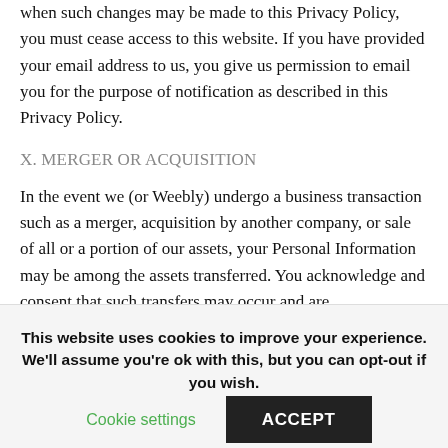when such changes may be made to this Privacy Policy, you must cease access to this website. If you have provided your email address to us, you give us permission to email you for the purpose of notification as described in this Privacy Policy.
X. MERGER OR ACQUISITION
In the event we (or Weebly) undergo a business transaction such as a merger, acquisition by another company, or sale of all or a portion of our assets, your Personal Information may be among the assets transferred. You acknowledge and consent that such transfers may occur and are
This website uses cookies to improve your experience. We'll assume you're ok with this, but you can opt-out if you wish.
Cookie settings
ACCEPT